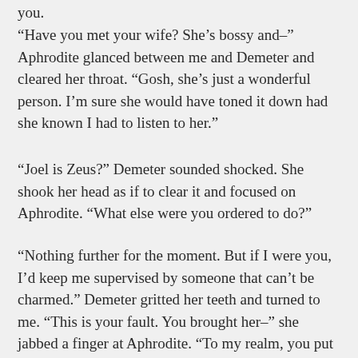you.
“Have you met your wife? She’s bossy and–” Aphrodite glanced between me and Demeter and cleared her throat. “Gosh, she’s just a wonderful person. I’m sure she would have toned it down had she known I had to listen to her.”
“Joel is Zeus?” Demeter sounded shocked. She shook her head as if to clear it and focused on Aphrodite. “What else were you ordered to do?”
“Nothing further for the moment. But if I were you, I’d keep me supervised by someone that can’t be charmed.” Demeter gritted her teeth and turned to me. “This is your fault. You brought her–” she jabbed a finger at Aphrodite. “To my realm, you put her under my roof with my daughter. You let Zeus–”
“I didn’t let him take her. If you weren’t so stingy with your teleportation authorization, I’d have been able to